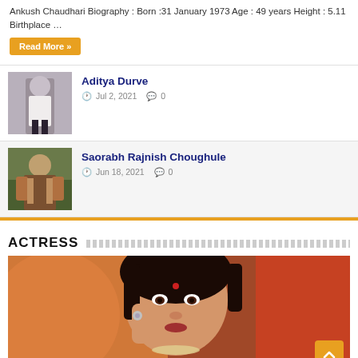Ankush Chaudhari Biography : Born :31 January 1973 Age : 49 years Height : 5.11 Birthplace …
Read More »
Aditya Durve
Jul 2, 2021   0
[Figure (photo): Photo of Aditya Durve – young man in white shirt]
Saorabh Rajnish Choughule
Jun 18, 2021   0
[Figure (photo): Photo of Saorabh Rajnish Choughule – man in colorful attire outdoors]
ACTRESS
[Figure (photo): Close-up photo of an actress in traditional Indian bridal attire with jewelry and orange/red dupatta]